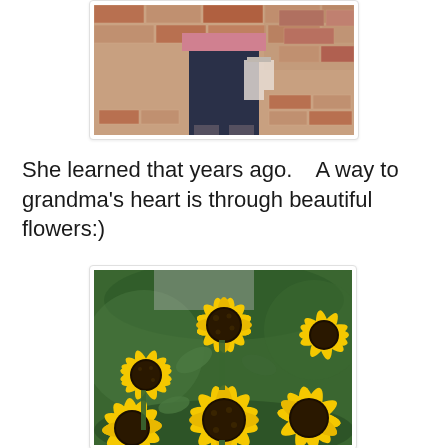[Figure (photo): Partial view of a person standing on a brick surface, showing lower body with dark pants and pink top, cropped at the top]
She learned that years ago.   A way to grandma's heart is through beautiful flowers:)
[Figure (photo): Close-up photograph of bright yellow black-eyed Susan flowers (Rudbeckia) with dark brown centers, green foliage visible in background]